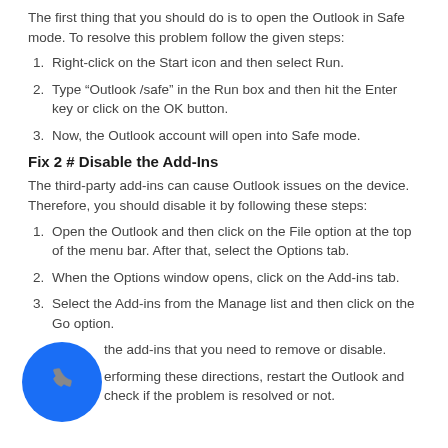The first thing that you should do is to open the Outlook in Safe mode. To resolve this problem follow the given steps:
Right-click on the Start icon and then select Run.
Type “Outlook /safe” in the Run box and then hit the Enter key or click on the OK button.
Now, the Outlook account will open into Safe mode.
Fix 2 # Disable the Add-Ins
The third-party add-ins can cause Outlook issues on the device. Therefore, you should disable it by following these steps:
Open the Outlook and then click on the File option at the top of the menu bar. After that, select the Options tab.
When the Options window opens, click on the Add-ins tab.
Select the Add-ins from the Manage list and then click on the Go option.
the add-ins that you need to remove or disable.
erforming these directions, restart the Outlook and check if the problem is resolved or not.
[Figure (illustration): Blue circular phone call button with a phone handset icon]